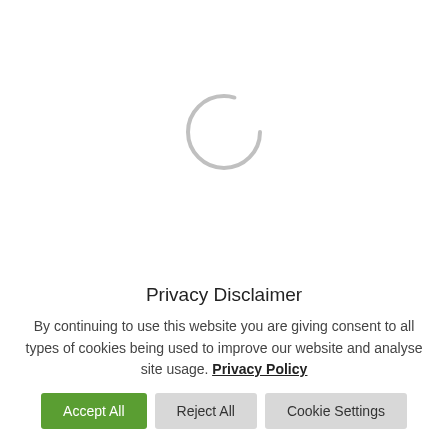[Figure (other): A circular loading spinner graphic — a thin gray ring/circle centered in the upper white area of the page]
Privacy Disclaimer
By continuing to use this website you are giving consent to all types of cookies being used to improve our website and analyse site usage. Privacy Policy
Accept All
Reject All
Cookie Settings